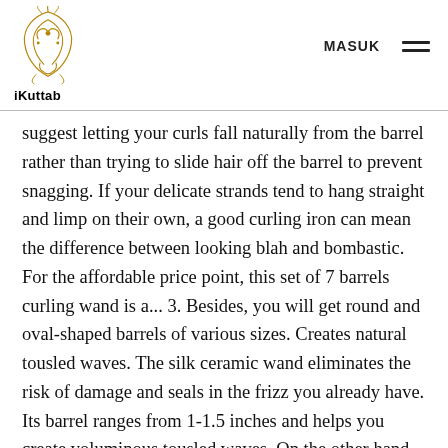iKuttab | MASUK
suggest letting your curls fall naturally from the barrel rather than trying to slide hair off the barrel to prevent snagging. If your delicate strands tend to hang straight and limp on their own, a good curling iron can mean the difference between looking blah and bombastic. For the affordable price point, this set of 7 barrels curling wand is a... 3. Besides, you will get round and oval-shaped barrels of various sizes. Creates natural tousled waves. The silk ceramic wand eliminates the risk of damage and seals in the frizz you already have. Its barrel ranges from 1-1.5 inches and helps you create voluminous tousled waves. On the other hand, it is a pocket-friendly tool that fits in a small bag. The best curling wand for fine hair that we could find was this one by BaByliss. The Remington CI96W1B has a narrow ½-inch to 1-inch tapered barrel that can be helpful in creating tight